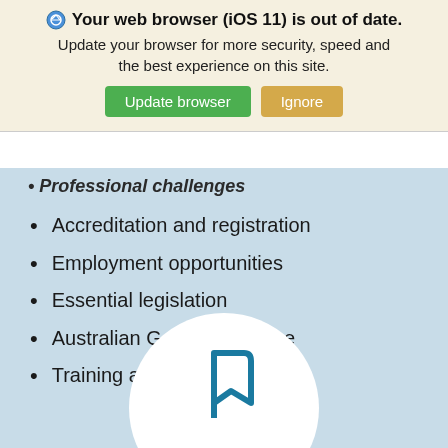Your web browser (iOS 11) is out of date. Update your browser for more security, speed and the best experience on this site. [Update browser] [Ignore]
Professional challenges
Accreditation and registration
Employment opportunities
Essential legislation
Australian General Practice
Training and assessment
[Figure (logo): Partial logo/icon in teal blue color visible at the bottom of the light blue content area]